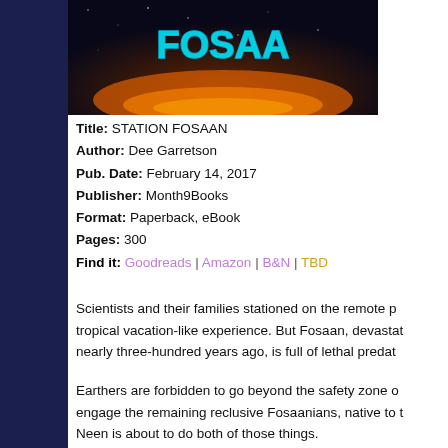[Figure (photo): Book cover image for Station Fosaan showing the title text in glowing blue letters over a dark space/orange glow background]
Title: STATION FOSAAN
Author: Dee Garretson
Pub. Date: February 14, 2017
Publisher: Month9Books
Format: Paperback, eBook
Pages: 300
Find it: Goodreads | Amazon | B&N | TBD
Scientists and their families stationed on the remote p... tropical vacation-like experience. But Fosaan, devastat... nearly three-hundred years ago, is full of lethal predat...
Earthers are forbidden to go beyond the safety zone o... engage the remaining reclusive Fosaanians, native to t... Neen is about to do both of those things.